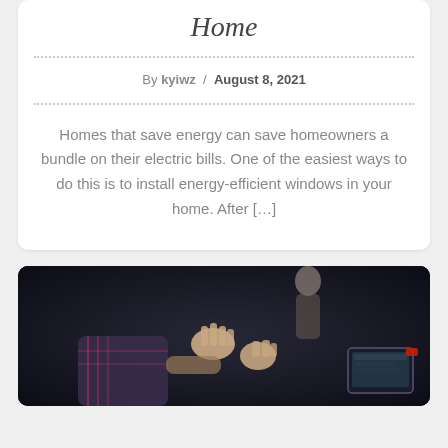Home
By kyiwz / August 8, 2021
Homes that save energy can save homeowners a bundle on their electric bills. One of the easiest ways to do this is to install energy-efficient windows in your home. After […]
[Figure (photo): Photo showing people in a dark room, one person with hands raised, another person visible in background, a laptop/tablet visible on the right side]